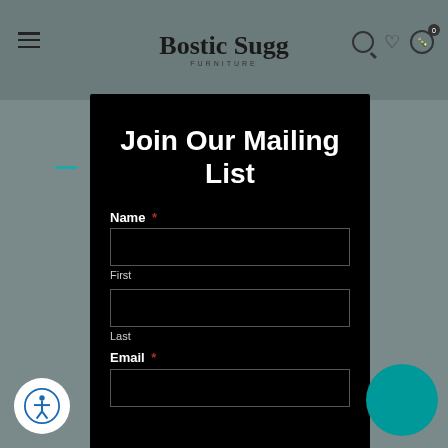Bostic Sugg FURNITURE
Join Our Mailing List
Name *
First
Last
Email *